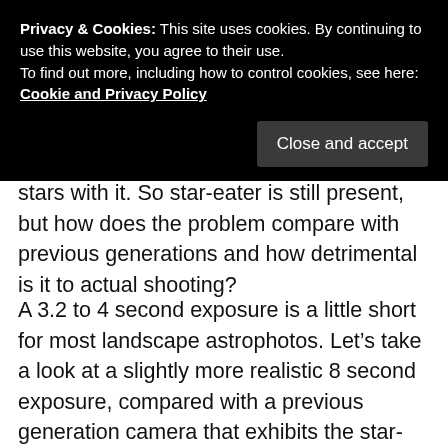Privacy & Cookies: This site uses cookies. By continuing to use this website, you agree to their use.
To find out more, including how to control cookies, see here: Cookie and Privacy Policy
Close and accept
stars with it. So star-eater is still present, but how does the problem compare with previous generations and how detrimental is it to actual shooting?
A 3.2 to 4 second exposure is a little short for most landscape astrophotos. Let's take a look at a slightly more realistic 8 second exposure, compared with a previous generation camera that exhibits the star-eater issue (the a7S in Bulb-timed shooting mode). At 8 seconds long, on an 18mm lens, the stars should hopefully “burn-in” more and be less susceptible to the star-eater issue.